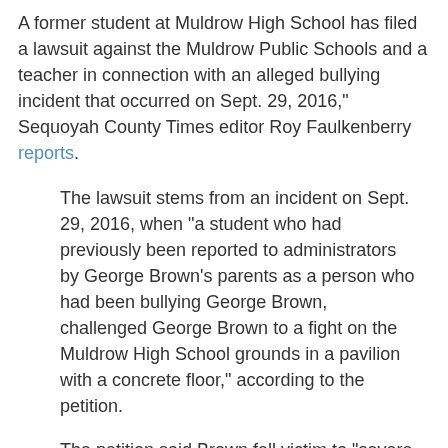A former student at Muldrow High School has filed a lawsuit against the Muldrow Public Schools and a teacher in connection with an alleged bullying incident that occurred on Sept. 29, 2016," Sequoyah County Times editor Roy Faulkenberry reports.
The lawsuit stems from an incident on Sept. 29, 2016, when “a student who had previously been reported to administrators by George Brown’s parents as a person who had been bullying George Brown, challenged George Brown to a fight on the Muldrow High School grounds in a pavilion with a concrete floor,” according to the petition.
The petition said Brown fell victim to “severe, pervasive and abusive harassment, bullying, isolation, criticism, mocking and physical assault,” beginning in August 2016.
According to the information filed in the petition, Brown and his parents had reported the incidents of bullying to Muldrow Principal Steve R...